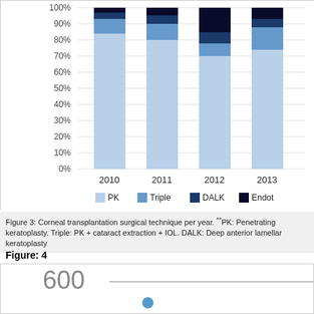[Figure (stacked-bar-chart): Corneal transplantation surgical technique per year]
Figure 3: Corneal transplantation surgical technique per year. **PK: Penetrating keratoplasty. Triple: PK + cataract extraction + IOL. DALK: Deep anterior lamellar keratoplasty
Figure: 4
[Figure (line-chart): Line chart partially visible, showing value around 600 with a data point visible]